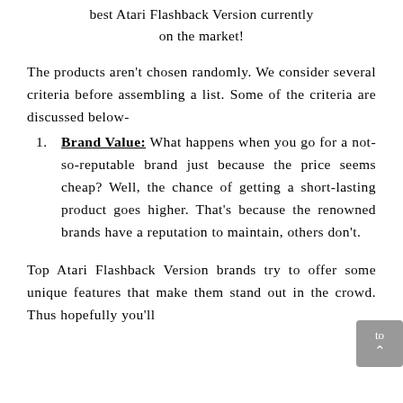best Atari Flashback Version currently on the market!
The products aren't chosen randomly. We consider several criteria before assembling a list. Some of the criteria are discussed below-
Brand Value: What happens when you go for a not-so-reputable brand just because the price seems cheap? Well, the chance of getting a short-lasting product goes higher. That's because the renowned brands have a reputation to maintain, others don't.
Top Atari Flashback Version brands try to offer some unique features that make them stand out in the crowd. Thus hopefully you'll